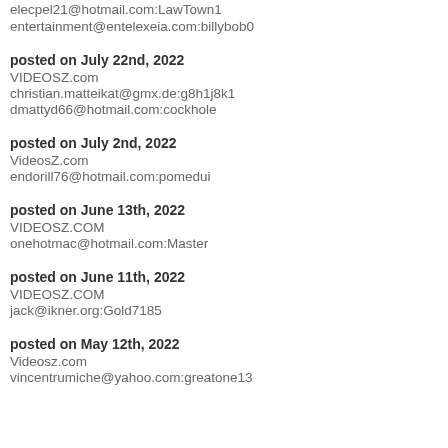elecpel21@hotmail.com:LawTown1
entertainment@entelexeia.com:billybob0
posted on July 22nd, 2022
VIDEOSZ.com
christian.matteikat@gmx.de:g8h1j8k1
dmattyd66@hotmail.com:cockhole
posted on July 2nd, 2022
VideosZ.com
endorill76@hotmail.com:pomedui
posted on June 13th, 2022
VIDEOSZ.COM
onehotmac@hotmail.com:Master
posted on June 11th, 2022
VIDEOSZ.COM
jack@ikner.org:Gold7185
posted on May 12th, 2022
Videosz.com
vincentrumiche@yahoo.com:greatone13